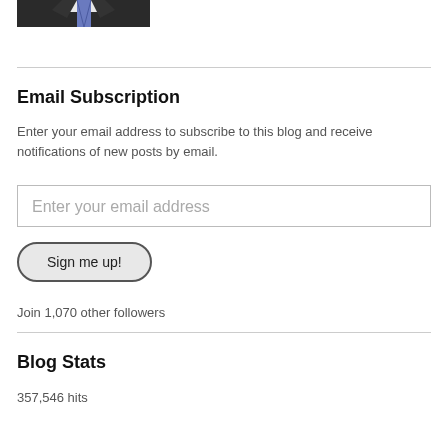[Figure (photo): Cropped bottom portion of a man in a dark suit and tie, visible from chest up]
Email Subscription
Enter your email address to subscribe to this blog and receive notifications of new posts by email.
Enter your email address
Sign me up!
Join 1,070 other followers
Blog Stats
357,546 hits